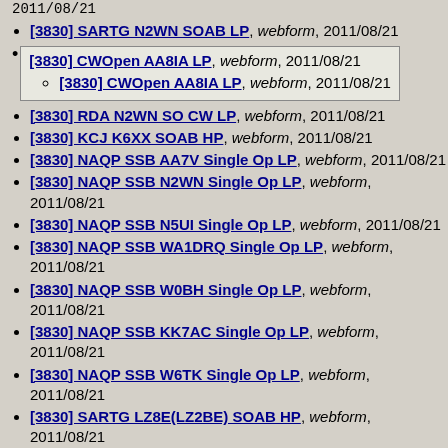2011/08/21
[3830] SARTG N2WN SOAB LP, webform, 2011/08/21
[3830] CWOpen AA8IA LP, webform, 2011/08/21
  [3830] CWOpen AA8IA LP, webform, 2011/08/21
[3830] RDA N2WN SO CW LP, webform, 2011/08/21
[3830] KCJ K6XX SOAB HP, webform, 2011/08/21
[3830] NAQP SSB AA7V Single Op LP, webform, 2011/08/21
[3830] NAQP SSB N2WN Single Op LP, webform, 2011/08/21
[3830] NAQP SSB N5UI Single Op LP, webform, 2011/08/21
[3830] NAQP SSB WA1DRQ Single Op LP, webform, 2011/08/21
[3830] NAQP SSB W0BH Single Op LP, webform, 2011/08/21
[3830] NAQP SSB KK7AC Single Op LP, webform, 2011/08/21
[3830] NAQP SSB W6TK Single Op LP, webform, 2011/08/21
[3830] SARTG LZ8E(LZ2BE) SOAB HP, webform, 2011/08/21
[3830] SARTG AL9A SOAB HP, webform, 2011/08/21
[3830] SARTG W4UH SOAB HP, webform, 2011/08/21
[3830] CWOpen K4BAI HP, webform, 2011/08/21
[3830] NAQP SSB W5WZ Single Op LP, webform, ...